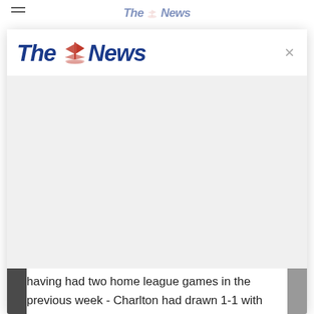The News
[Figure (logo): The News newspaper logo with red sailing ship icon between 'The' and 'News' in bold dark blue italic text, shown in a modal overlay with an X close button]
having had two home league games in the previous week - Charlton had drawn 1-1 with